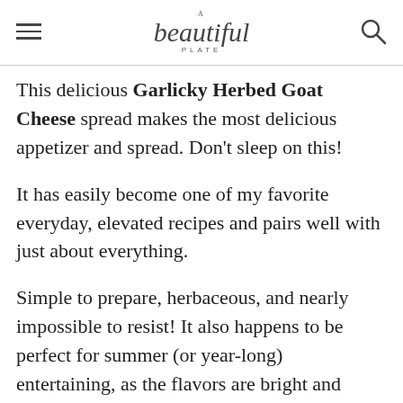A beautiful PLATE
This delicious Garlicky Herbed Goat Cheese spread makes the most delicious appetizer and spread. Don't sleep on this!
It has easily become one of my favorite everyday, elevated recipes and pairs well with just about everything.
Simple to prepare, herbaceous, and nearly impossible to resist! It also happens to be perfect for summer (or year-long) entertaining, as the flavors are bright and fresh.